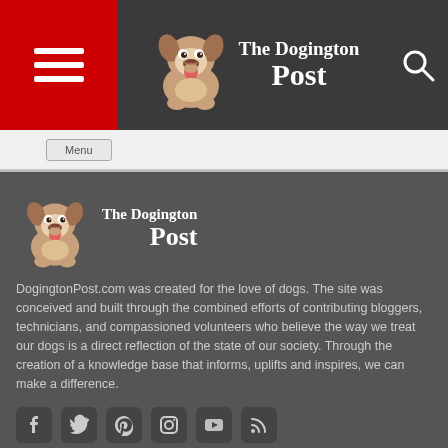The Dogington Post
[Figure (logo): The Dogington Post logo with bulldog puppy illustration in header]
[Figure (logo): The Dogington Post logo with bulldog puppy illustration in footer section]
DogingtonPost.com was created for the love of dogs. The site was conceived and built through the combined efforts of contributing bloggers, technicians, and compassioned volunteers who believe the way we treat our dogs is a direct reflection of the state of our society. Through the creation of a knowledge base that informs, uplifts and inspires, we can make a difference.
[Figure (illustration): Social media icons row: Facebook, Twitter, Pinterest, Instagram, YouTube, RSS]